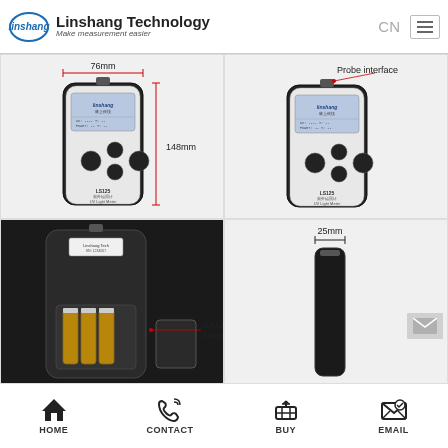[Figure (logo): Linshang Technology logo with oval linshang emblem and tagline Make measurement easier]
[Figure (photo): Top-left: Front view of LS125 UV Light Meter with 76mm width and 148mm height dimensions annotated]
[Figure (photo): Top-right: Front view of LS125 UV Light Meter with Probe interface label at top]
[Figure (photo): Bottom-left: Rear view showing 4 AAA alkaline batteries and battery compartment cover]
[Figure (photo): Bottom-right: UV probe sensor shown with 25mm width dimension annotated]
HOME   CONTACT   BUY   EMAIL